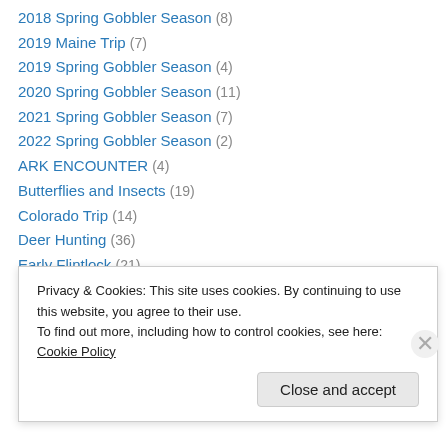2018 Spring Gobbler Season (8)
2019 Maine Trip (7)
2019 Spring Gobbler Season (4)
2020 Spring Gobbler Season (11)
2021 Spring Gobbler Season (7)
2022 Spring Gobbler Season (2)
ARK ENCOUNTER (4)
Butterflies and Insects (19)
Colorado Trip (14)
Deer Hunting (36)
Early Flintlock (21)
East Coast trip (7)
Elk (5)
Privacy & Cookies: This site uses cookies. By continuing to use this website, you agree to their use. To find out more, including how to control cookies, see here: Cookie Policy